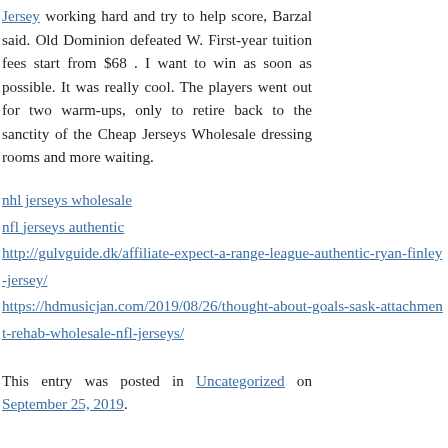Jersey working hard and try to help score, Barzal said. Old Dominion defeated W. First-year tuition fees start from $68 . I want to win as soon as possible. It was really cool. The players went out for two warm-ups, only to retire back to the sanctity of the Cheap Jerseys Wholesale dressing rooms and more waiting.
nhl jerseys wholesale
nfl jerseys authentic
http://gulvguide.dk/affiliate-expect-a-range-league-authentic-ryan-finley-jersey/
https://hdmusicjan.com/2019/08/26/thought-about-goals-sask-attachment-rehab-wholesale-nfl-jerseys/
This entry was posted in Uncategorized on September 25, 2019.